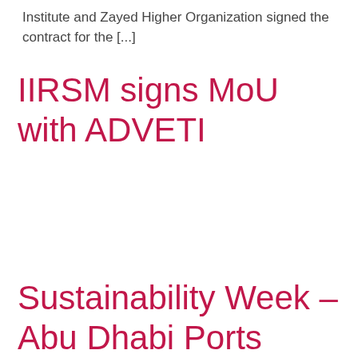Institute and Zayed Higher Organization signed the contract for the [...]
IIRSM signs MoU with ADVETI
Sustainability Week – Abu Dhabi Ports